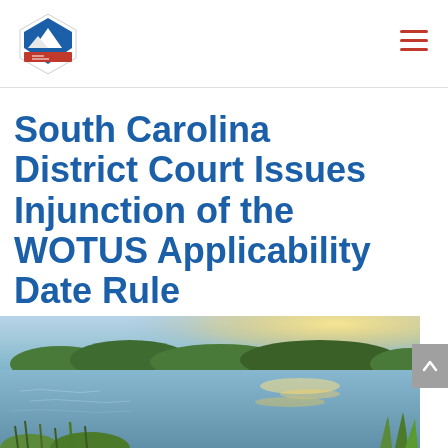[Figure (logo): Mountain/diamond shaped organization logo in blue and red]
South Carolina District Court Issues Injunction of the WOTUS Applicability Date Rule
[Figure (photo): Outdoor landscape photo showing a water body (river or wetland) with green grass/reeds in foreground and sunlight reflecting on the water surface, green trees/shrub in background]